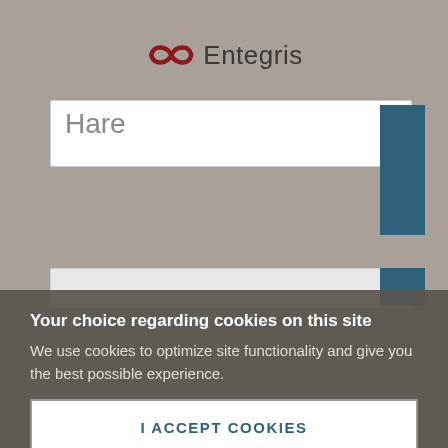[Figure (logo): Entegris company logo with infinity-like red icon and gray company name text]
Hare
[Figure (screenshot): Partial website interface with search bar and blue bookmark tabs visible behind cookie overlay]
Your choice regarding cookies on this site
We use cookies to optimize site functionality and give you the best possible experience.
I ACCEPT COOKIES
SETTINGS